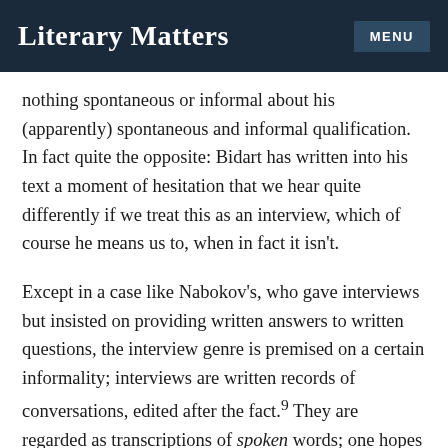Literary Matters | MENU
nothing spontaneous or informal about his (apparently) spontaneous and informal qualification. In fact quite the opposite: Bidart has written into his text a moment of hesitation that we hear quite differently if we treat this as an interview, which of course he means us to, when in fact it isn't.
Except in a case like Nabokov's, who gave interviews but insisted on providing written answers to written questions, the interview genre is premised on a certain informality; interviews are written records of conversations, edited after the fact.⁹ They are regarded as transcriptions of spoken words; one hopes for candor—and in the case of